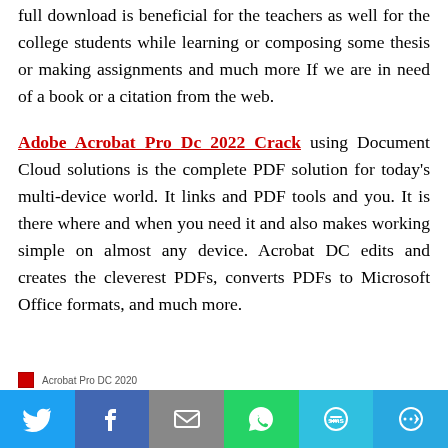full download is beneficial for the teachers as well for the college students while learning or composing some thesis or making assignments and much more If we are in need of a book or a citation from the web.
Adobe Acrobat Pro Dc 2022 Crack using Document Cloud solutions is the complete PDF solution for today's multi-device world. It links and PDF tools and you. It is there where and when you need it and also makes working simple on almost any device. Acrobat DC edits and creates the cleverest PDFs, converts PDFs to Microsoft Office formats, and much more.
[Figure (screenshot): Small screenshot thumbnail with Adobe Acrobat Pro DC 2020 label/icon]